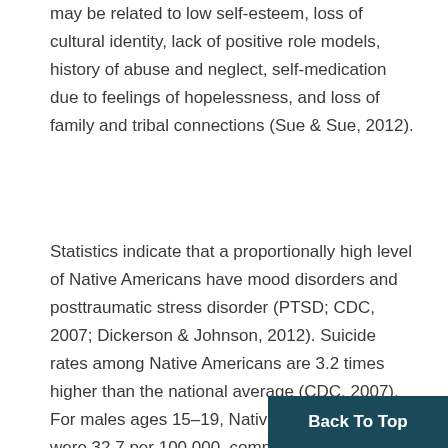may be related to low self-esteem, loss of cultural identity, lack of positive role models, history of abuse and neglect, self-medication due to feelings of hopelessness, and loss of family and tribal connections (Sue & Sue, 2012).
Statistics indicate that a proportionally high level of Native Americans have mood disorders and posttraumatic stress disorder (PTSD; CDC, 2007; Dickerson & Johnson, 2012). Suicide rates among Native Americans are 3.2 times higher than the national average (CDC, 2007). For males ages 15–19, Native American rates were 32.7 per 100,000, compared to non